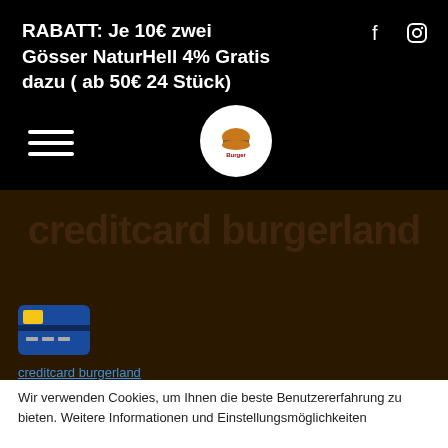RABATT: Je 10€ zwei Gösser NaturHell 4% Gratis dazu ( ab 50€ 24 Stück)
[Figure (logo): Burger restaurant logo in white circle]
[Figure (infographic): Website screenshot showing 'creditcard burgerland' heading as watermark text over dark brown background, with a credit card icon, link text, comment form heading 'Schreibe einen Kommentar', email input placeholder, and burger food photo]
creditcard burgerland
Schreibe einen Kommentar
Deine E-Mail-Adresse w...
Wir verwenden Cookies, um Ihnen die beste Benutzererfahrung zu bieten. Weitere Informationen und Einstellungsmöglichkeiten